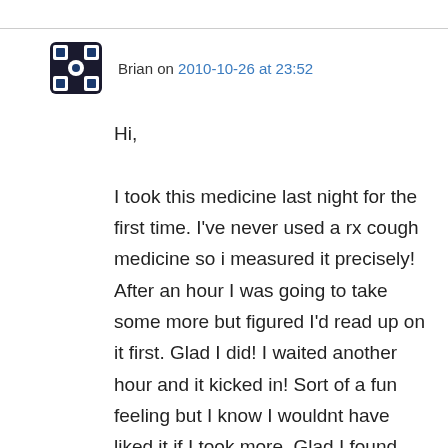Brian on 2010-10-26 at 23:52
Hi,

I took this medicine last night for the first time. I've never used a rx cough medicine so i measured it precisely! After an hour I was going to take some more but figured I'd read up on it first. Glad I did! I waited another hour and it kicked in! Sort of a fun feeling but I know I wouldnt have liked it if I took more. Glad I found this site. Also, my doctor and pharmacist didnt warn me about this syrup at all. In fact, when I found out how much it costs I asked the pharmacist to call the dr. to find out if he would prescribe something cheaper. He said he would